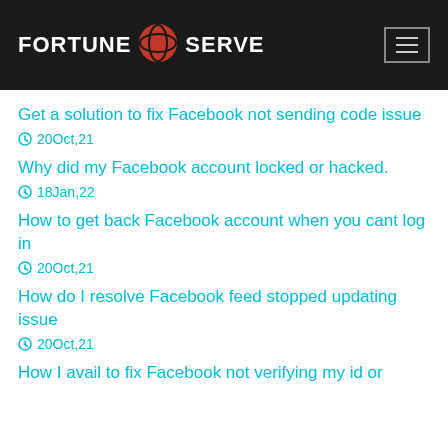FORTUNE SERVE
Get a solution to fix Facebook not sending code issue
20Oct,21
Why did my Facebook account locked or hacked.
18Jan,22
How to get back Facebook account when you cant log in
20Oct,21
How do I resolve Facebook feed stopped updating issue
20Oct,21
How I avail to fix Facebook not verifying my id or